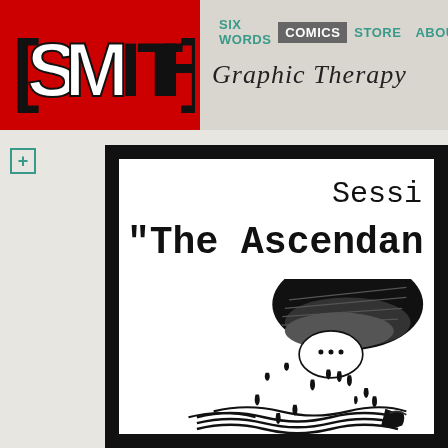[Figure (logo): SMITH magazine logo in red block with white bracketed letters]
SIX WORDS  COMICS  STORE  ABOUT
Graphic Therapy
+
[Figure (illustration): Comic panel titled 'Session... The Ascendan...' with black and white illustration of a figure with water drops/rain falling, wearing a hat-like shape. Typewriter-style font.]